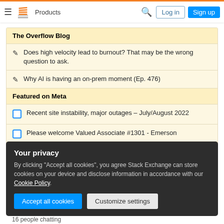≡  [Stack Overflow logo]  Products  🔍  Log in  Sign up
The Overflow Blog
Does high velocity lead to burnout? That may be the wrong question to ask.
Why AI is having an on-prem moment (Ep. 476)
Featured on Meta
Recent site instability, major outages – July/August 2022
Please welcome Valued Associate #1301 - Emerson
Your privacy
By clicking "Accept all cookies", you agree Stack Exchange can store cookies on your device and disclose information in accordance with our Cookie Policy.
Accept all cookies  Customize settings
16 people chatting